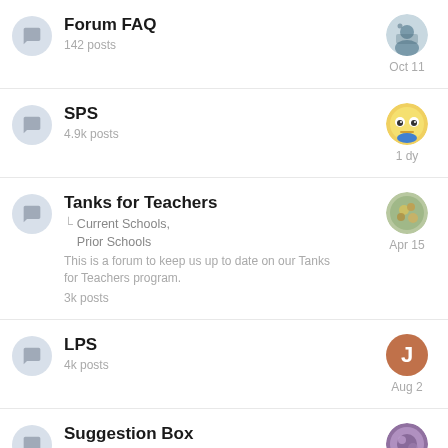Forum FAQ
142 posts
Oct 11
SPS
4.9k posts
1 dy
Tanks for Teachers
Current Schools, Prior Schools
This is a forum to keep us up to date on our Tanks for Teachers program.
3k posts
Apr 15
LPS
4k posts
Aug 2
Suggestion Box
Lets hear some great ideas